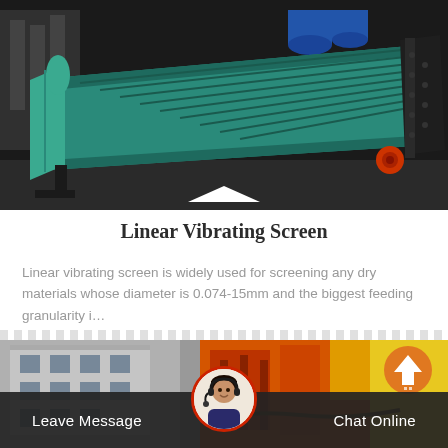[Figure (photo): Large industrial linear vibrating screen machine, teal/green colored, photographed outdoors in a factory yard. The machine has a wedge-like inclined body with ridged panels and large structural frame.]
Linear Vibrating Screen
Linear vibrating screen is widely used for screening any dry materials whose diameter is 0.074-15mm and the biggest feeding granularity i…
[Figure (photo): Bottom strip showing a partial outdoor industrial scene with a grey building on the left and an orange/red piece of machinery on the right, with a yellow section visible at far right. An orange circular scroll-to-top button appears at upper right. A circular avatar of a customer service woman wearing a headset is centered at the bottom. A dark semi-transparent bar at the bottom shows 'Leave Message' on left and 'Chat Online' on right.]